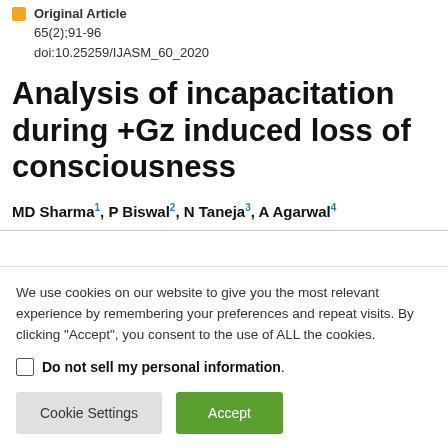Original Article
65(2);91-96
doi:10.25259/IJASM_60_2020
Analysis of incapacitation during +Gz induced loss of consciousness
MD Sharma¹, P Biswal², N Taneja³, A Agarwal⁴
We use cookies on our website to give you the most relevant experience by remembering your preferences and repeat visits. By clicking "Accept", you consent to the use of ALL the cookies.
Do not sell my personal information.
Cookie Settings  Accept